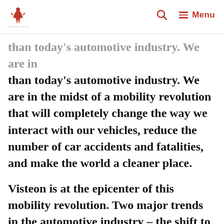Sri Ganesh Jee Ltd — Search — Menu
than today's automotive industry. We are in the midst of a mobility revolution that will completely change the way we interact with our vehicles, reduce the number of car accidents and fatalities, and make the world a cleaner place.
Visteon is at the epicenter of this mobility revolution. Two major trends in the automotive industry – the shift to electric vehicles and vehicles with autonomous safety technologies – have created unique opportunities for Visteon. We are the only automotive provider solely focused exclusively on cockpit electronics – the